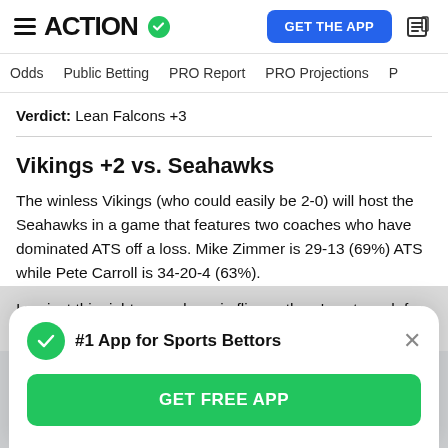ACTION [logo with checkmark] | GET THE APP [button] | [news icon]
Odds | Public Betting | PRO Report | PRO Projections | P...
Verdict: Lean Falcons +3
Vikings +2 vs. Seahawks
The winless Vikings (who could easily be 2-0) will host the Seahawks in a game that features two coaches who have dominated ATS off a loss. Mike Zimmer is 29-13 (69%) ATS while Pete Carroll is 34-20-4 (63%).
I project this right around a coin flip, so there's not much for me to do here other than tease the Vikings up over a
#1 App for Sports Bettors | GET FREE APP